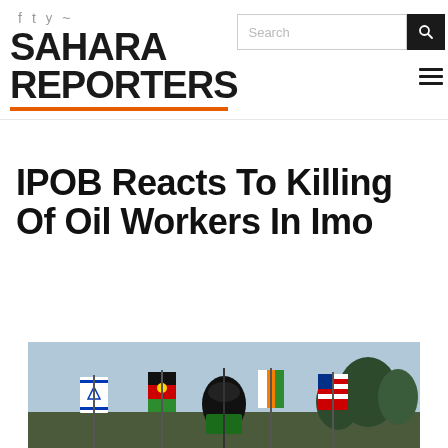Sahara Reporters — header with social icons, search, and navigation
IPOB Reacts To Killing Of Oil Workers In Imo
[Figure (photo): Photo of people holding multiple flags including Biafra flag and American flag at a rally or protest]